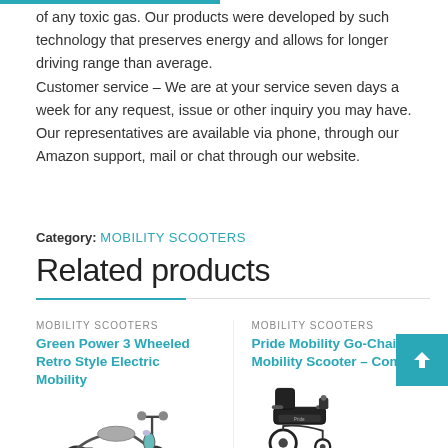of any toxic gas. Our products were developed by such technology that preserves energy and allows for longer driving range than average.
Customer service – We are at your service seven days a week for any request, issue or other inquiry you may have. Our representatives are available via phone, through our Amazon support, mail or chat through our website.
Category: MOBILITY SCOOTERS
Related products
MOBILITY SCOOTERS
Green Power 3 Wheeled Retro Style Electric Mobility
MOBILITY SCOOTERS
Pride Mobility Go-Chair Mobility Scooter – Compact
[Figure (photo): Green Power 3 Wheeled Retro Style Electric Mobility scooter product photo, partial view of scooter from front angle]
[Figure (photo): Pride Mobility Go-Chair Mobility Scooter compact wheelchair product photo, partial view]